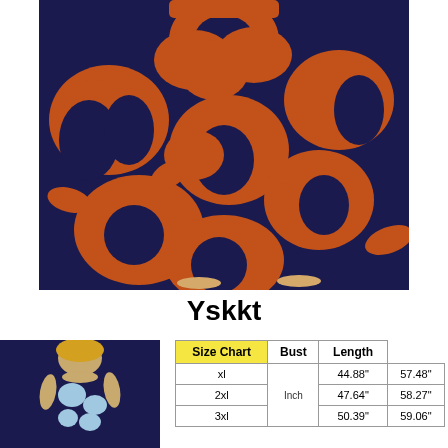[Figure (photo): Woman wearing a navy blue and orange floral maxi dress, showing the skirt portion with floral print pattern]
Yskkt
[Figure (photo): Small thumbnail photo of a woman wearing a black and white floral short-sleeve dress]
| Size Chart | Bust | Length |
| --- | --- | --- |
| xl |  | 44.88" | 57.48" |
| 2xl | Inch | 47.64" | 58.27" |
| 3xl |  | 50.39" | 59.06" |